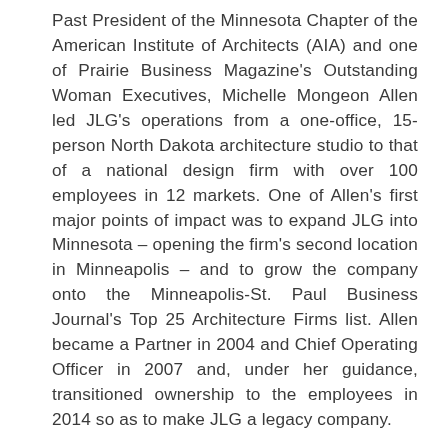Past President of the Minnesota Chapter of the American Institute of Architects (AIA) and one of Prairie Business Magazine's Outstanding Woman Executives, Michelle Mongeon Allen led JLG's operations from a one-office, 15-person North Dakota architecture studio to that of a national design firm with over 100 employees in 12 markets. One of Allen's first major points of impact was to expand JLG into Minnesota – opening the firm's second location in Minneapolis – and to grow the company onto the Minneapolis-St. Paul Business Journal's Top 25 Architecture Firms list. Allen became a Partner in 2004 and Chief Operating Officer in 2007 and, under her guidance, transitioned ownership to the employees in 2014 so as to make JLG a legacy company.
Known for her commitment to elevating the next generation of architects, Allen has been a leader within the Minnesota Chapter of the AIA,